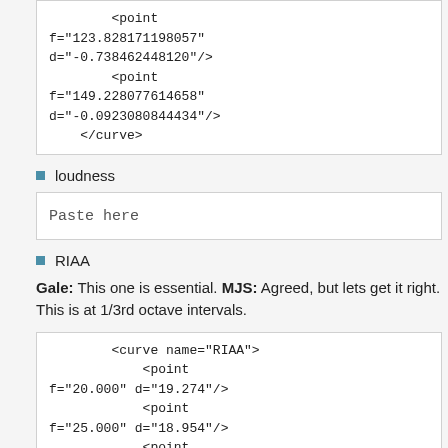<point f="123.828171198057" d="-0.738462448120"/>
        <point f="149.228077614658" d="-0.0923080844434"/>
    </curve>
loudness
Paste here
RIAA
Gale: This one is essential. MJS: Agreed, but lets get it right. This is at 1/3rd octave intervals.
<curve name="RIAA">
        <point f="20.000" d="19.274"/>
        <point f="25.000" d="18.954"/>
        <point f="31.000" d="18.516"/>
        <point f="40.000" d="17.792"/>
        <point f="50.000" d="16.946"/>